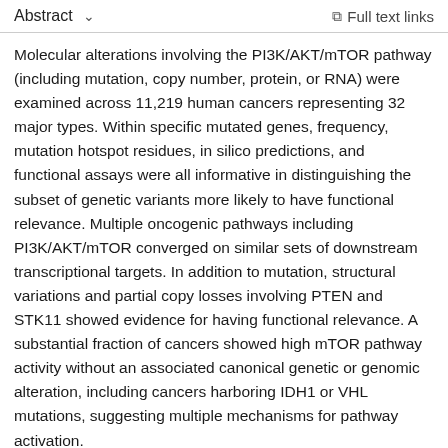Abstract  ∨    Full text links
Molecular alterations involving the PI3K/AKT/mTOR pathway (including mutation, copy number, protein, or RNA) were examined across 11,219 human cancers representing 32 major types. Within specific mutated genes, frequency, mutation hotspot residues, in silico predictions, and functional assays were all informative in distinguishing the subset of genetic variants more likely to have functional relevance. Multiple oncogenic pathways including PI3K/AKT/mTOR converged on similar sets of downstream transcriptional targets. In addition to mutation, structural variations and partial copy losses involving PTEN and STK11 showed evidence for having functional relevance. A substantial fraction of cancers showed high mTOR pathway activity without an associated canonical genetic or genomic alteration, including cancers harboring IDH1 or VHL mutations, suggesting multiple mechanisms for pathway activation.